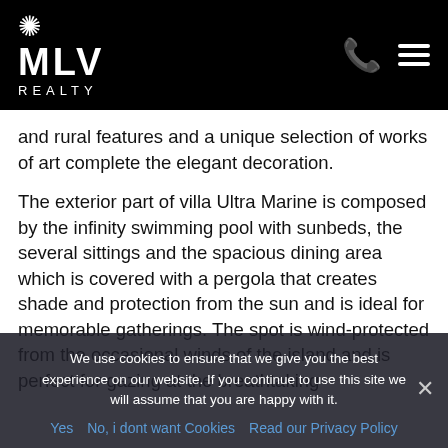MLV REALTY
and rural features and a unique selection of works of art complete the elegant decoration.
The exterior part of villa Ultra Marine is composed by the infinity swimming pool with sunbeds, the several sittings and the spacious dining area which is covered with a pergola that creates shade and protection from the sun and is ideal for memorable gatherings. The spot is wind-protected from the occasional winds of the island and is perfect for gazing at the breathtaking
We use cookies to ensure that we give you the best experience on our website. If you continue to use this site we will assume that you are happy with it.
Yes   No, i dont want Cookies   Read our Privacy Policy